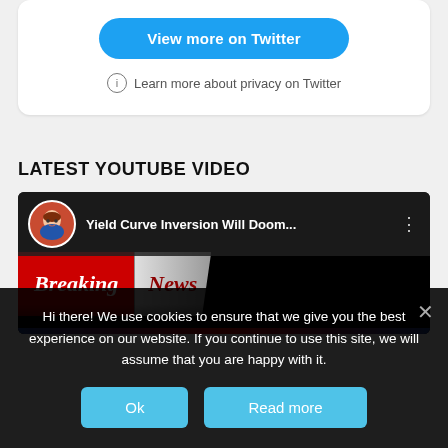[Figure (screenshot): Twitter 'View more on Twitter' button inside a white card]
Learn more about privacy on Twitter
LATEST YOUTUBE VIDEO
[Figure (screenshot): YouTube video thumbnail showing 'Yield Curve Inversion Will Doom...' with Breaking News banner overlay and anime avatar]
Hi there! We use cookies to ensure that we give you the best experience on our website. If you continue to use this site, we will assume that you are happy with it.
Ok
Read more